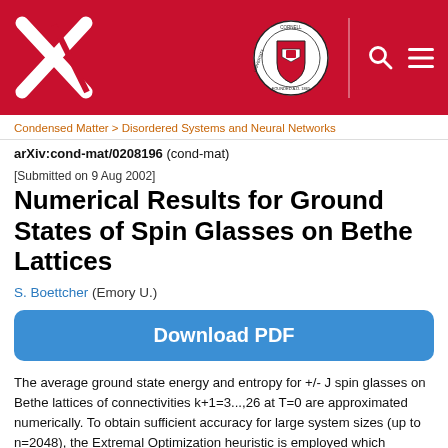[Figure (logo): arXiv and Cornell University header bar with arXiv X logo on the left, Cornell University seal in the center-right, and search/menu icons on the far right, all on a red background]
Condensed Matter > Disordered Systems and Neural Networks
arXiv:cond-mat/0208196 (cond-mat)
[Submitted on 9 Aug 2002]
Numerical Results for Ground States of Spin Glasses on Bethe Lattices
S. Boettcher (Emory U.)
Download PDF
The average ground state energy and entropy for +/- J spin glasses on Bethe lattices of connectivities k+1=3...,26 at T=0 are approximated numerically. To obtain sufficient accuracy for large system sizes (up to n=2048), the Extremal Optimization heuristic is employed which provides high-quality results not only for the ground state energies per spin e_{k+1} but also for their entropies s_{k+1}. The results show considerable quantitative differences between lattices of comparable connectivities. The results further more d